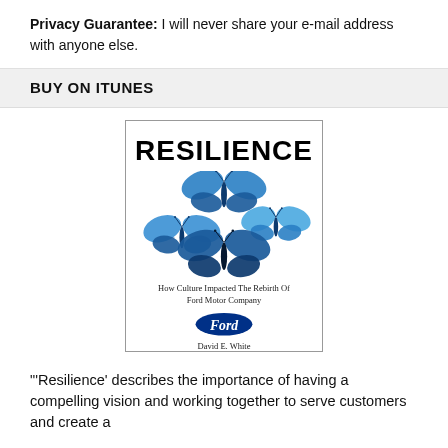Privacy Guarantee: I will never share your e-mail address with anyone else.
BUY ON ITUNES
[Figure (illustration): Book cover for 'Resilience: How Culture Impacted The Rebirth Of Ford Motor Company' by David E. White. Features three blue butterflies on a white background with the Ford oval logo.]
'Resilience' describes the importance of having a compelling vision and working together to serve customers and create a